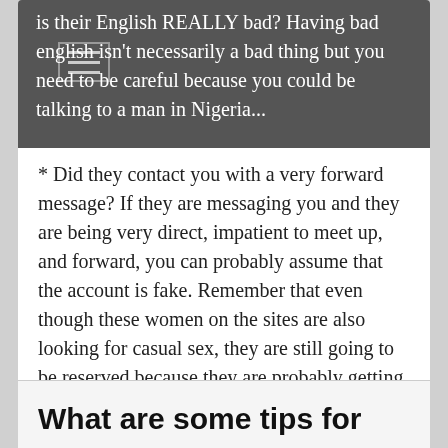is their English REALLY bad? Having bad english isn't necessarily a bad thing but you need to be careful because you could be talking to a man in Nigeria...
* Did they contact you with a very forward message? If they are messaging you and they are being very direct, impatient to meet up, and forward, you can probably assume that the account is fake. Remember that even though these women on the sites are also looking for casual sex, they are still going to be reserved because they are probably getting a lot of messages from a lot of men. If they sound desperate, then something is wrong...
* Do they not own a phone or camera? It's the 21st century...pretty much everyone has a camera phone. If they don't that's because they either can't talk to you because they are not who they say they are.
What are some tips for